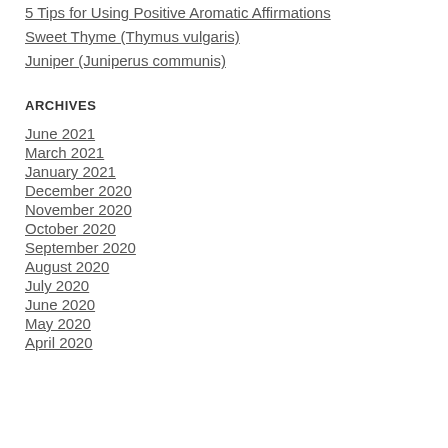5 Tips for Using Positive Aromatic Affirmations
Sweet Thyme (Thymus vulgaris)
Juniper (Juniperus communis)
ARCHIVES
June 2021
March 2021
January 2021
December 2020
November 2020
October 2020
September 2020
August 2020
July 2020
June 2020
May 2020
April 2020